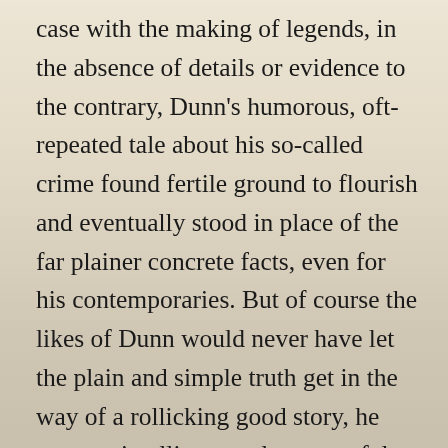case with the making of legends, in the absence of details or evidence to the contrary, Dunn's humorous, oft-repeated tale about his so-called crime found fertile ground to flourish and eventually stood in place of the far plainer concrete facts, even for his contemporaries. But of course the likes of Dunn would never have let the plain and simple truth get in the way of a rollicking good story, he was too intelligent and resourceful for that. Thus, the vertically-challenged ex-con actively nurtured his own legend; fashioning a larger-than-life persona for himself by insisting, with a mischievous glint in